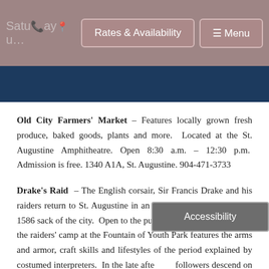Rates & Availability | Menu
Old City Farmers' Market – Features locally grown fresh produce, baked goods, plants and more. Located at the St. Augustine Amphitheatre. Open 8:30 a.m. – 12:30 p.m. Admission is free. 1340 A1A, St. Augustine. 904-471-3733
Drake's Raid – The English corsair, Sir Francis Drake and his raiders return to St. Augustine in an authentic re-creation of the 1586 sack of the city. Open to the public from 10 a.m. to 5 p.m., the raiders' camp at the Fountain of Youth Park features the arms and armor, craft skills and lifestyles of the period explained by costumed interpreters. In the late afte... followers descend on the city's historic district. At 1 p.m., battle between the English privateers and the brave defenders of